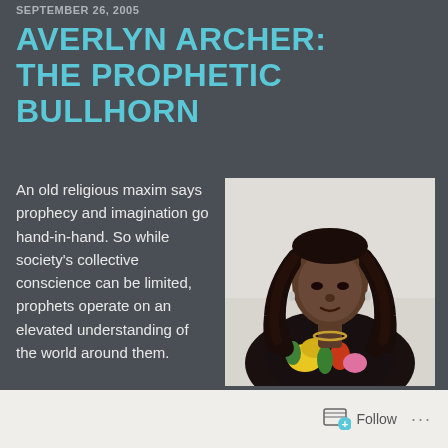SEPTEMBER 26, 2005
AVERLYN ARCHER: THE PROPHETIC BULLHORN
An old religious maxim says prophecy and imagination go hand-in-hand. So while society's collective conscience can be limited, prophets operate on an elevated understanding of the world around them.
[Figure (photo): Portrait photo of Averlyn Archer, a woman with long braided hair wearing a floral top, against a light background.]
Follow